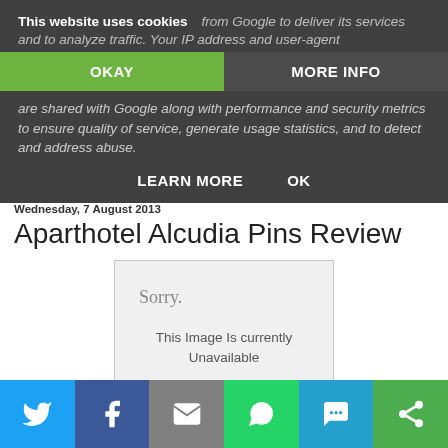[Figure (screenshot): Cookie consent banner overlay on a website. Shows 'This website uses cookies' header with partial text about Google services, IP address, user-agent. Two buttons: OKAY (green) and MORE INFO (dark). Body text about security metrics, usage statistics, abuse detection. LEARN MORE and OK action links.]
Wednesday, 7 August 2013
Aparthotel Alcudia Pins Review
[Figure (photo): Image placeholder showing 'Sorry. This Image Is currently Unavailable' on a light grey background with border.]
[Figure (infographic): Social sharing bar at bottom with icons for Twitter, Facebook, Email, WhatsApp, SMS, and another share option.]